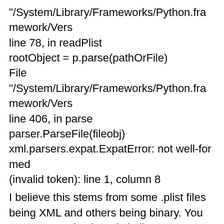"/System/Library/Frameworks/Python.framework/Vers
line 78, in readPlist
rootObject = p.parse(pathOrFile)
File
"/System/Library/Frameworks/Python.framework/Vers
line 406, in parse
parser.ParseFile(fileobj)
xml.parsers.expat.ExpatError: not well-formed
(invalid token): line 1, column 8
I believe this stems from some .plist files being XML and others being binary. You can revert to bash and plutil to convert from binary to XML, but extra-converting a file in bash to be able to read from it in Python isn't ideal.
plist Classes and Pytho...